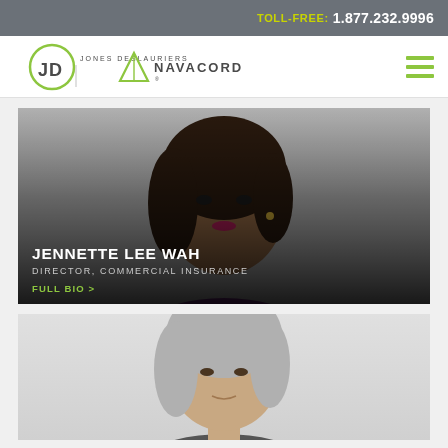TOLL-FREE: 1.877.232.9996
[Figure (logo): Jones Deslauriers JD + Navacord logo with navigation hamburger menu]
[Figure (photo): Professional headshot of Jennette Lee Wah, a woman in a purple blazer with straight dark hair, overlaid with her name and title]
JENNETTE LEE WAH
DIRECTOR, COMMERCIAL INSURANCE
FULL BIO >
[Figure (photo): Partial professional headshot of a second person with gray hair, partially visible at bottom of page]